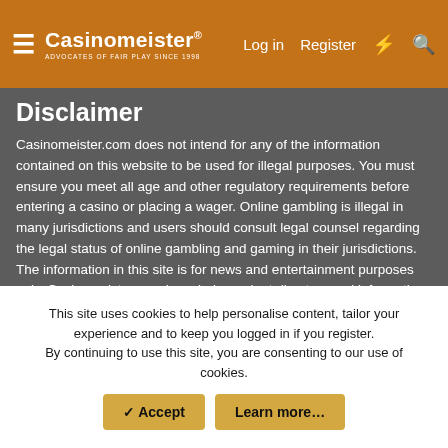Casinomeister® — Log in  Register
Disclaimer
Casinomeister.com does not intend for any of the information contained on this website to be used for illegal purposes. You must ensure you meet all age and other regulatory requirements before entering a casino or placing a wager. Online gambling is illegal in many jurisdictions and users should consult legal counsel regarding the legal status of online gambling and gaming in their jurisdictions. The information in this site is for news and entertainment purposes only. Casinomeister.com is an independent directory and information service free of any gaming operator's control. Links to third party websites on Casinomeister.com are provided solely for informative/educational purposes. If you use these links, you leave this Website.
Copyright 1998-2022 all rights reserved. Casinomeister is a registered trademark. You scrape-a my site, I break-a you face!
This site uses cookies to help personalise content, tailor your experience and to keep you logged in if you register.
By continuing to use this site, you are consenting to our use of cookies.